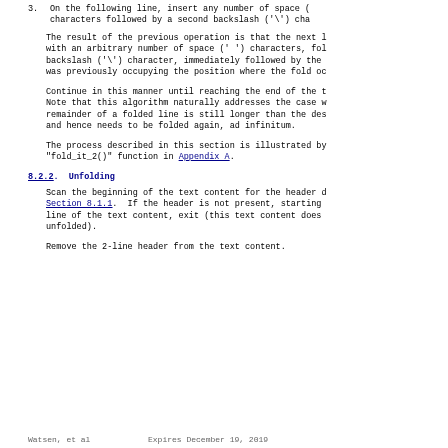3.  On the following line, insert any number of space ( ) characters followed by a second backslash ('\') cha
The result of the previous operation is that the next l with an arbitrary number of space (' ') characters, fol backslash ('\') character, immediately followed by the was previously occupying the position where the fold oc
Continue in this manner until reaching the end of the t Note that this algorithm naturally addresses the case w remainder of a folded line is still longer than the des and hence needs to be folded again, ad infinitum.
The process described in this section is illustrated by "fold_it_2()" function in Appendix A.
8.2.2. Unfolding
Scan the beginning of the text content for the header d Section 8.1.1.  If the header is not present, starting line of the text content, exit (this text content does unfolded).
Remove the 2-line header from the text content.
Watsen, et al              Expires December 19, 2019